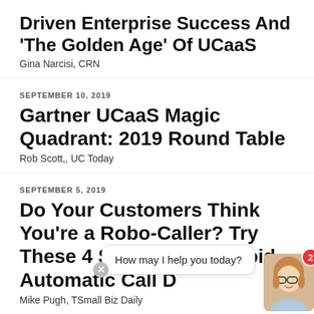Driven Enterprise Success And 'The Golden Age' Of UCaaS
Gina Narcisi, CRN
SEPTEMBER 10, 2019
Gartner UCaaS Magic Quadrant: 2019 Round Table
Rob Scott,, UC Today
SEPTEMBER 5, 2019
Do Your Customers Think You’re a Robo-Caller? Try These 4 Strategies to Avoid Automatic Call D
Mike Pugh, TSmall Biz Daily
[Figure (illustration): Chat widget overlay with a female avatar wearing glasses, a red notification badge showing '2', a close button, and a chat bubble saying 'How may I help you today?']